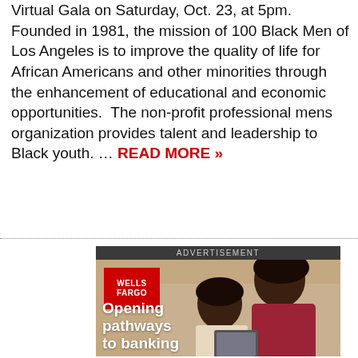Virtual Gala on Saturday, Oct. 23, at 5pm. Founded in 1981, the mission of 100 Black Men of Los Angeles is to improve the quality of life for African Americans and other minorities through the enhancement of educational and economic opportunities.  The non-profit professional mens organization provides talent and leadership to Black youth. … READ MORE »
[Figure (other): Wells Fargo advertisement banner showing a woman and child looking at a tablet, with Wells Fargo red logo box and text 'Opening pathways to banking']